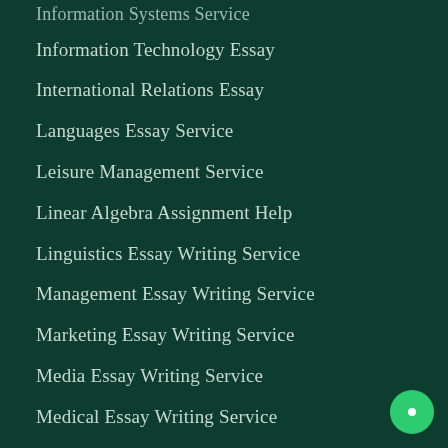Information Systems Service
Information Technology Essay
International Relations Essay
Languages Essay Service
Leisure Management Service
Linear Algebra Assignment Help
Linguistics Essay Writing Service
Management Essay Writing Service
Marketing Essay Writing Service
Media Essay Writing Service
Medical Essay Writing Service
Nursing Care Plan Writing
Nursing Management Paper